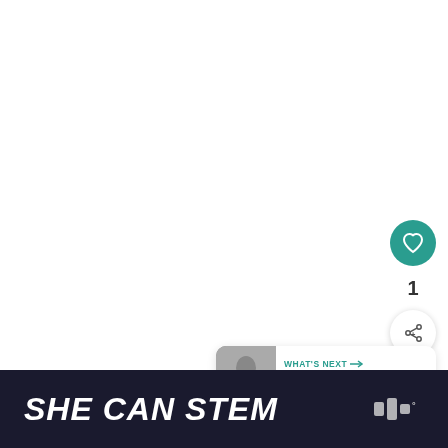[Figure (screenshot): White content area with social interaction buttons on the right side: a teal heart/like button, a count of 1, and a share button (circle with + icon). Below is a 'What's Next' card showing a thumbnail image and text '20 Thoughts Every Mom...']
WHAT'S NEXT → 20 Thoughts Every Mom...
SHE CAN STEM